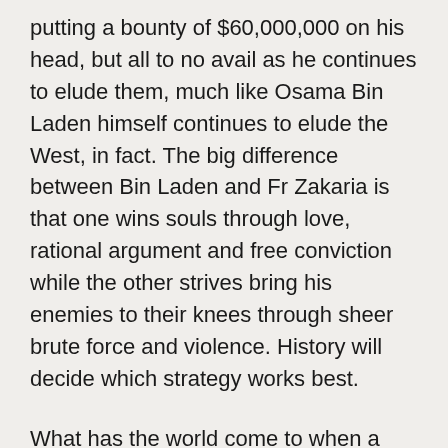putting a bounty of $60,000,000 on his head, but all to no avail as he continues to elude them, much like Osama Bin Laden himself continues to elude the West, in fact. The big difference between Bin Laden and Fr Zakaria is that one wins souls through love, rational argument and free conviction while the other strives bring his enemies to their knees through sheer brute force and violence. History will decide which strategy works best.
What has the world come to when a man of peace and love like Pope Shenouda has to have metal detectors at the doors of the cathedral to prevent him being attacked during his weekly sermon? Again, the question that begs to be answered is: Why is the decent minded Muslims majority silent? In a bizarre twist, it was the Egyptian Muslim Brotherhood who came out strongest among the Muslim community